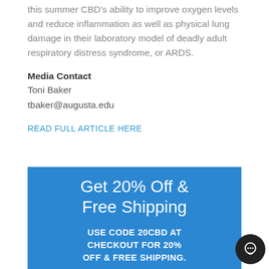this summer CBD's ability to improve oxygen levels and reduce inflammation as well as physical lung damage in their laboratory model of deadly adult respiratory distress syndrome, or ARDS.
Media Contact
Toni Baker
tbaker@augusta.edu
READ FULL ARTICLE HERE
[Figure (infographic): Blue promotional banner reading 'Get 20% Off & Free Shipping' with subtext 'USE CODE 20CBD AT CHECKOUT FOR 20% OFF & FREE SHIPPING.']